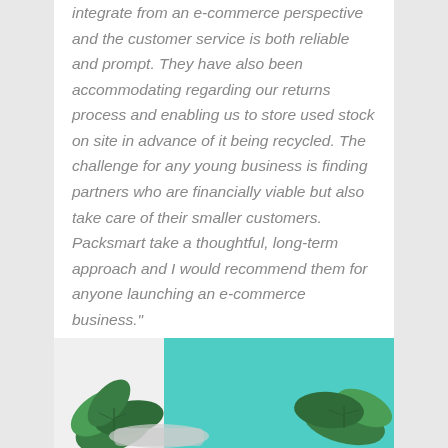integrate from an e-commerce perspective and the customer service is both reliable and prompt. They have also been accommodating regarding our returns process and enabling us to store used stock on site in advance of it being recycled. The challenge for any young business is finding partners who are financially viable but also take care of their smaller customers. Packsmart take a thoughtful, long-term approach and I would recommend them for anyone launching an e-commerce business."
[Figure (photo): Photo of fresh mint leaves on a turquoise/teal background, partially visible at the bottom of the page.]